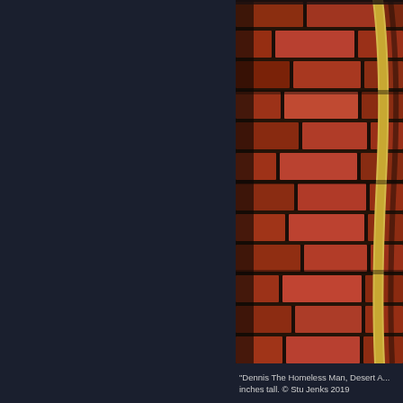[Figure (photo): Close-up photograph of a red brick wall with mortar joints, partially shadowed, with a curved yellow/tan wooden guitar neck or similar curved object visible along the right side of the image.]
"Dennis The Homeless Man, Desert A... inches tall. © Stu Jenks 2019